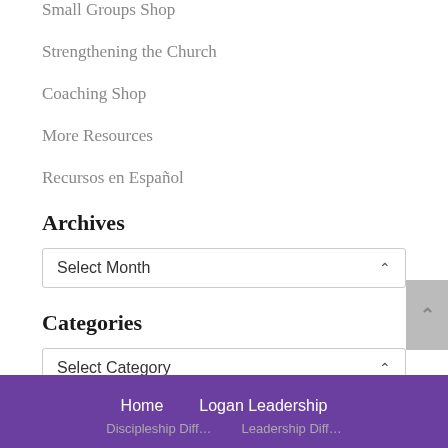Small Groups Shop
Strengthening the Church
Coaching Shop
More Resources
Recursos en Español
Archives
Select Month
Categories
Select Category
Home   Logan Leadership